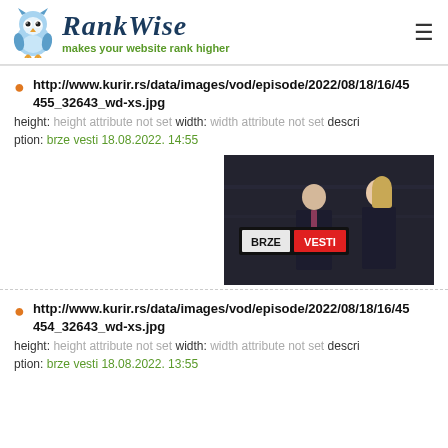RankWise — makes your website rank higher
http://www.kurir.rs/data/images/vod/episode/2022/08/18/16/45455_32643_wd-xs.jpg
height: height attribute not set width: width attribute not set description: brze vesti 18.08.2022. 14:55
[Figure (photo): Two TV presenters (man and woman in dark suits) standing in front of a studio background with a logo reading BRZE VESTI]
http://www.kurir.rs/data/images/vod/episode/2022/08/18/16/45454_32643_wd-xs.jpg
height: height attribute not set width: width attribute not set description: brze vesti 18.08.2022. 13:55